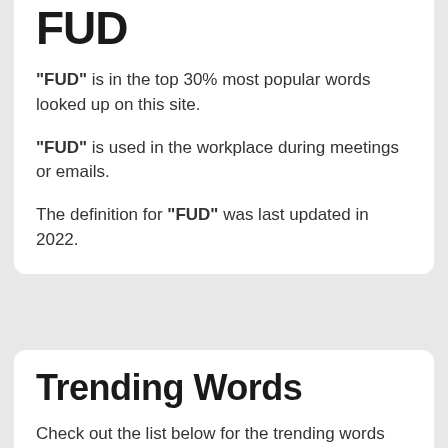FUD
"FUD" is in the top 30% most popular words looked up on this site.
"FUD" is used in the workplace during meetings or emails.
The definition for "FUD" was last updated in 2022.
Trending Words
Check out the list below for the trending words that people are searching for on this site.